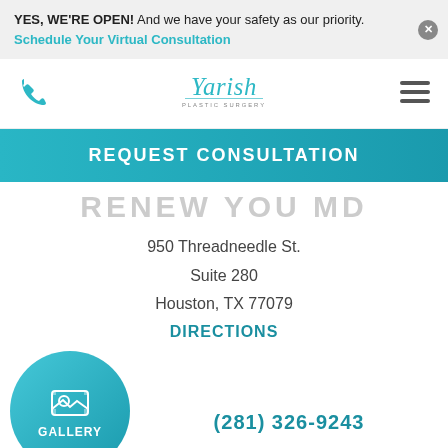YES, WE'RE OPEN! And we have your safety as our priority. Schedule Your Virtual Consultation
[Figure (logo): Yarish Plastic Surgery logo with teal cursive text]
REQUEST CONSULTATION
RENEW YOU MD
950 Threadneedle St.
Suite 280
Houston, TX 77079
DIRECTIONS
[Figure (illustration): Teal circle gallery button with image icon and GALLERY label]
(281) 326-9243